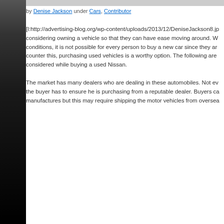by Denise Jackson under Cars, Contributor
[l:http://advertising-blog.org/wp-content/uploads/2013/12/DeniseJackson8.jp considering owning a vehicle so that they can have ease moving around. W conditions, it is not possible for every person to buy a new car since they ar counter this, purchasing used vehicles is a worthy option. The following are considered while buying a used Nissan.
The market has many dealers who are dealing in these automobiles. Not ev the buyer has to ensure he is purchasing from a reputable dealer. Buyers ca manufactures but this may require shipping the motor vehicles from oversea